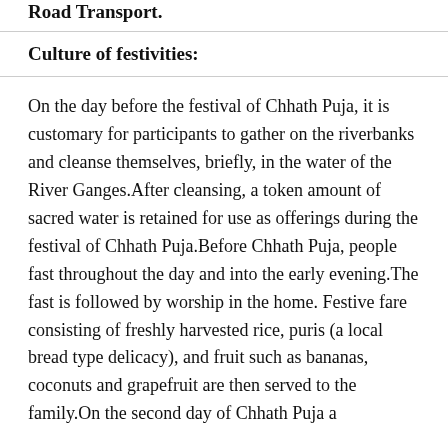Road Transport.
Culture of festivities:
On the day before the festival of Chhath Puja, it is customary for participants to gather on the riverbanks and cleanse themselves, briefly, in the water of the River Ganges.After cleansing, a token amount of sacred water is retained for use as offerings during the festival of Chhath Puja.Before Chhath Puja, people fast throughout the day and into the early evening.The fast is followed by worship in the home. Festive fare consisting of freshly harvested rice, puris (a local bread type delicacy), and fruit such as bananas, coconuts and grapefruit are then served to the family.On the second day of Chhath Puja a